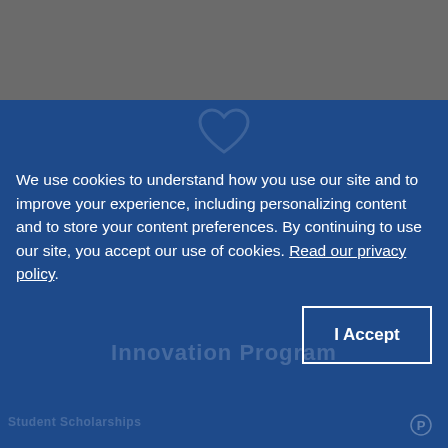[Figure (screenshot): Gray top bar representing a website header]
We use cookies to understand how you use our site and to improve your experience, including personalizing content and to store your content preferences. By continuing to use our site, you accept our use of cookies. Read our privacy policy.
I Accept